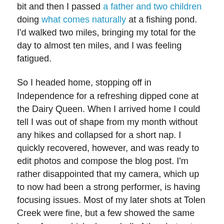bit and then I passed a father and two children doing what comes naturally at a fishing pond. I'd walked two miles, bringing my total for the day to almost ten miles, and I was feeling fatigued.
So I headed home, stopping off in Independence for a refreshing dipped cone at the Dairy Queen. When I arrived home I could tell I was out of shape from my month without any hikes and collapsed for a short nap. I quickly recovered, however, and was ready to edit photos and compose the blog post. I'm rather disappointed that my camera, which up to now had been a strong performer, is having focusing issues. Most of my later shots at Tolen Creek were fine, but a few showed the same lousy focus which plagued all of the shots at Big Hill Lake. It may be time for a new camera. If I do invest in one, I'll steer away from a Panasonic Lumix this time, although I'll insist on